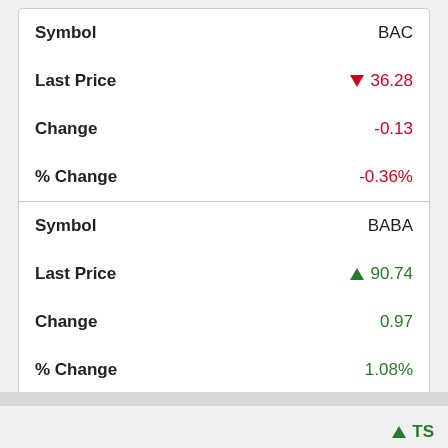| Field | Value |
| --- | --- |
| Symbol | BAC |
| Last Price | ▼ 36.28 |
| Change | -0.13 |
| % Change | -0.36% |
| Symbol | BABA |
| Last Price | ▲ 90.74 |
| Change | 0.97 |
| % Change | 1.08% |
▲ TS